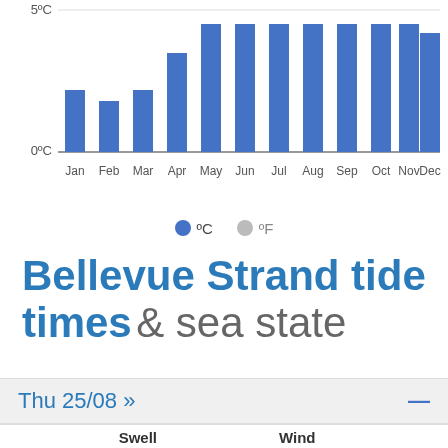[Figure (bar-chart): Monthly temperature (°C)]
°C  °F
Bellevue Strand tide times & sea state
Thu 25/08 »
|  | Swell |  |  | Wind |  |
| --- | --- | --- | --- | --- | --- |
| 5:00 | 1ft | 3s | ▼ | ← | 14mph |
| 8:00 | 2ft | 3s | ▼ | ← | 14mph |